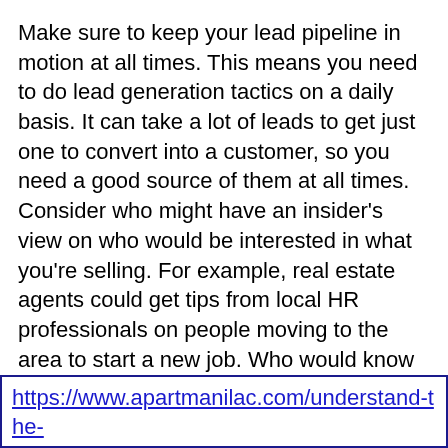Make sure to keep your lead pipeline in motion at all times. This means you need to do lead generation tactics on a daily basis. It can take a lot of leads to get just one to convert into a customer, so you need a good source of them at all times.
Consider who might have an insider's view on who would be interested in what you're selling. For example, real estate agents could get tips from local HR professionals on people moving to the area to start a new job. Who would know of people who would need what you are selling?
Lead generation is one of those subjects that seems simple at first, but can be quite tricky in practice. You may just need some good advice so that you can know how to generate leads most effectively. Fortunately, the article that you have just read has taught you what you need to know.
https://www.apartmanilac.com/understand-the-